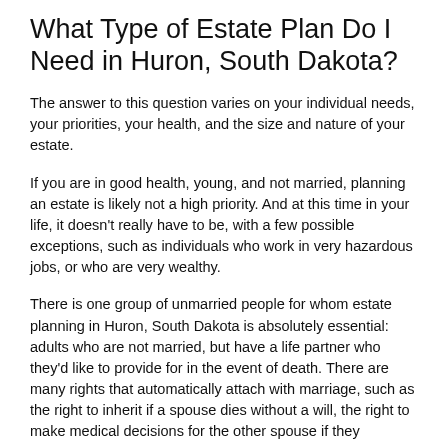What Type of Estate Plan Do I Need in Huron, South Dakota?
The answer to this question varies on your individual needs, your priorities, your health, and the size and nature of your estate.
If you are in good health, young, and not married, planning an estate is likely not a high priority. And at this time in your life, it doesn't really have to be, with a few possible exceptions, such as individuals who work in very hazardous jobs, or who are very wealthy.
There is one group of unmarried people for whom estate planning in Huron, South Dakota is absolutely essential: adults who are not married, but have a life partner who they'd like to provide for in the event of death. There are many rights that automatically attach with marriage, such as the right to inherit if a spouse dies without a will, the right to make medical decisions for the other spouse if they become incapacitated, and if a person does not have a spouse...